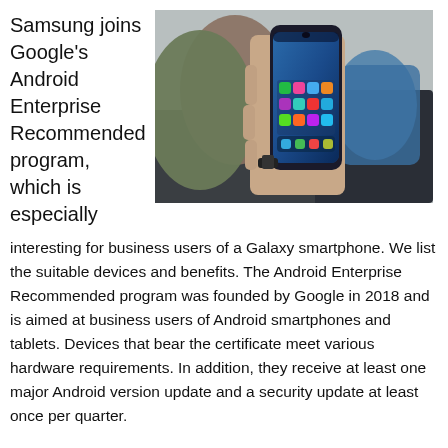Samsung joins Google's Android Enterprise Recommended program, which is especially interesting for business users of a Galaxy smartphone.
[Figure (photo): A hand holding a Samsung Galaxy smartphone displaying the home screen with colorful app icons, set against a blurred couch and pillow background.]
interesting for business users of a Galaxy smartphone. We list the suitable devices and benefits. The Android Enterprise Recommended program was founded by Google in 2018 and is aimed at business users of Android smartphones and tablets. Devices that bear the certificate meet various hardware requirements. In addition, they receive at least one major Android version update and a security update at least once per quarter.